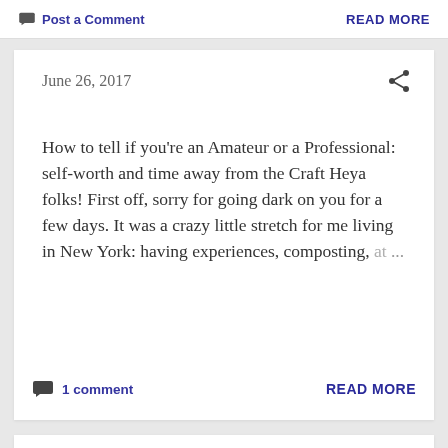Post a Comment   READ MORE
June 26, 2017
How to tell if you're an Amateur or a Professional: self-worth and time away from the Craft Heya folks! First off, sorry for going dark on you for a few days. It was a crazy little stretch for me living in New York: having experiences, composting, at ...
1 comment   READ MORE
June 21, 2017
Standup Comedy on the Sidewalk I had a